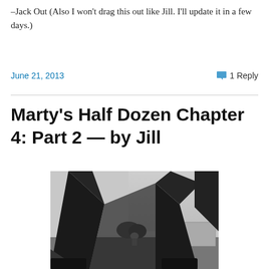–Jack Out (Also I won't drag this out like Jill. I'll update it in a few days.)
June 21, 2013   1 Reply
Marty's Half Dozen Chapter 4: Part 2 — by Jill
[Figure (photo): Black and white photograph taken from a low angle looking up at a person's legs and torso standing in a wide stance, with another person visible in the background between the legs, along with trees and a building.]